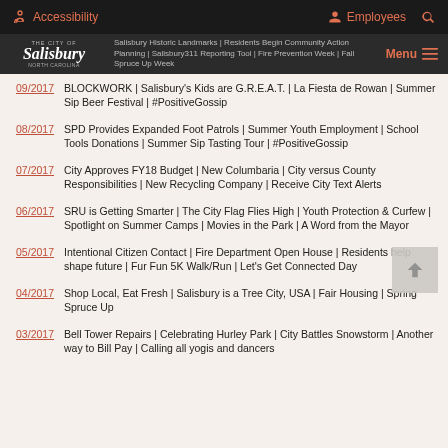Accessibility | Employees
The City of Salisbury, North Carolina — Menu
Salisbury Historic Landmarks | Residents Begin Community Action Planning | Salisbury311 Reporting Tool | Fire Prevention Week | Fall Spruce Up Week
09/2017 — BLOCKWORK | Salisbury's Kids are G.R.E.A.T. | La Fiesta de Rowan | Summer Sip Beer Festival | #PositiveGossip
08/2017 — SPD Provides Expanded Foot Patrols | Summer Youth Employment | School Tools Donations | Summer Sip Tasting Tour | #PositiveGossip
07/2017 — City Approves FY18 Budget | New Columbaria | City versus County Responsibilities | New Recycling Company | Receive City Text Alerts
06/2017 — SRU is Getting Smarter | The City Flag Flies High | Youth Protection & Curfew | Spotlight on Summer Camps | Movies in the Park | A Word from the Mayor
05/2017 — Intentional Citizen Contact | Fire Department Open House | Residents help shape future | Fur Fun 5K Walk/Run | Let's Get Connected Day
04/2017 — Shop Local, Eat Fresh | Salisbury is a Tree City, USA | Fair Housing | Spring Spruce Up
03/2017 — Bell Tower Repairs | Celebrating Hurley Park | City Battles Snowstorm | Another way to Bill Pay | Calling all yogis and dancers